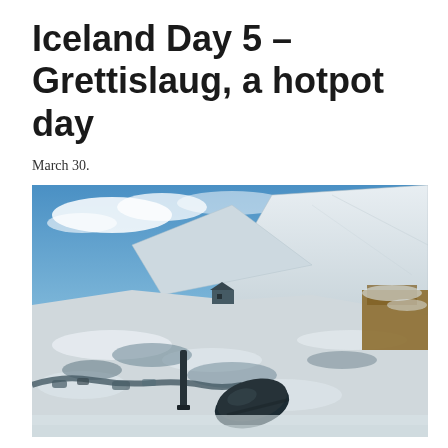Iceland Day 5 – Grettislaug, a hotpot day
March 30.
[Figure (photo): Landscape photograph of an Icelandic winter scene showing a snow-covered hillside with a large mountain in the background under a blue sky with clouds. In the foreground there are snow-covered rocky ground, a small dark building/hut in the middle distance, a vertical pipe or post, and a large overturned black barrel or drum. The right side shows tufts of brown/golden grass under snow.]